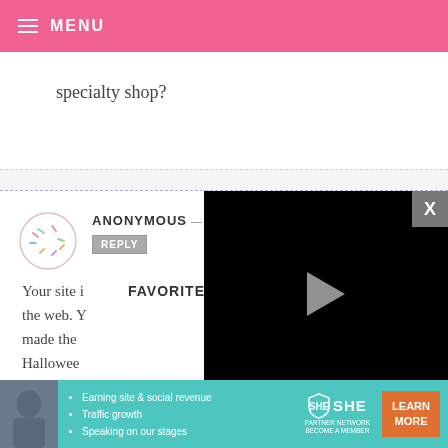MENU
specialty shop?
ANONYMOUS — OCTOBER 27, 2008 @ 8:44 PM
REPLY
Your site is... FAVORITE... the web. Y... made the... Hallowee... make som... need your help! I am very good at the execution, but stink at thinking up my
[Figure (screenshot): Video player overlay with black background, play button in center, progress bar, timestamp 13:52, and controls including mute, CC, grid, settings, fullscreen. Close button X in top-right corner.]
[Figure (infographic): SHE Partner Network advertisement banner with teal background. Features bullet points: Earning site & social revenue, Traffic growth, Speaking on our stages. SHE logo and LEARN MORE orange button.]